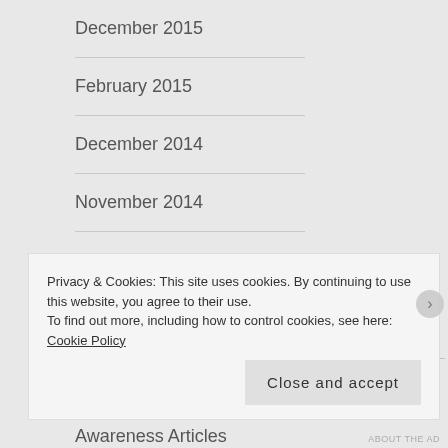December 2015
February 2015
December 2014
November 2014
September 2014
August 2014
CATEGORIES
Awareness Articles
Privacy & Cookies: This site uses cookies. By continuing to use this website, you agree to their use.
To find out more, including how to control cookies, see here: Cookie Policy
Close and accept
ABOUT THE AD